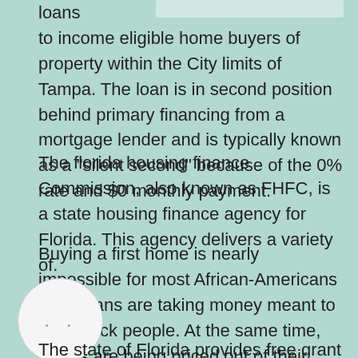loans to income eligible home buyers of property within the City limits of Tampa. The loan is in second position behind primary financing from a mortgage lender and is typically known as a "silent second" because of the 0% rate and $0 monthly payment.
The florida housing finance Commission, also known as FHFC, is a state housing finance agency for Florida. This agency delivers a variety of.
Buying a first home is nearly impossible for most African-Americans in. Cubans are taking money meant to help black people. At the same time, blacks are being priced out of their own neighborhoods,
The state of Florida provides free grant money for its